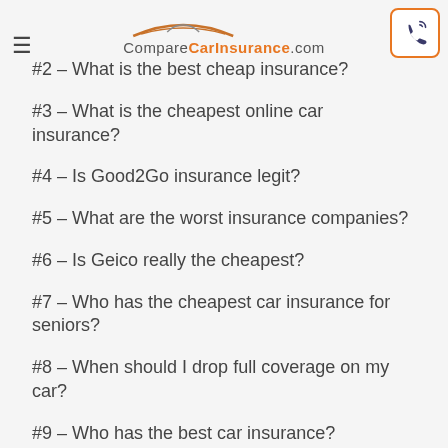CompareCarInsurance.com
#2 – What is the best cheap insurance?
#3 – What is the cheapest online car insurance?
#4 – Is Good2Go insurance legit?
#5 – What are the worst insurance companies?
#6 – Is Geico really the cheapest?
#7 – Who has the cheapest car insurance for seniors?
#8 – When should I drop full coverage on my car?
#9 – Who has the best car insurance?
#10 – How can I get non owners insurance?